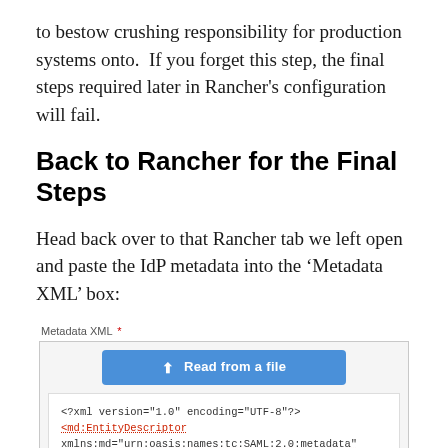to bestow crushing responsibility for production systems onto.  If you forget this step, the final steps required later in Rancher's configuration will fail.
Back to Rancher for the Final Steps
Head back over to that Rancher tab we left open and paste the IdP metadata into the ‘Metadata XML’ box:
[Figure (screenshot): Screenshot of a Rancher UI form showing a 'Metadata XML' field (marked required with red asterisk) containing a blue 'Read from a file' button and a white text area with XML content starting with <?xml version="1.0" encoding="UTF-8"?>, <md:EntityDescriptor, xmlns:md="urn:oasis:names:tc:SAML:2.0:metadata", entityID="http://www.okta.com/exkfxcBh35dEJOV8x0h7", and <md:IDPSSODescriptor]